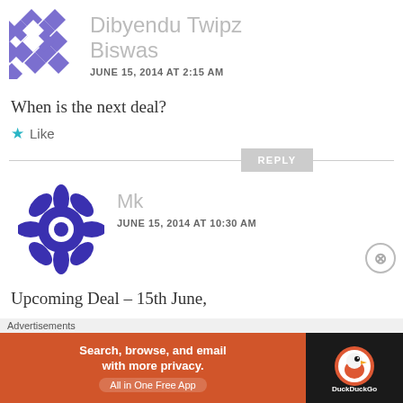[Figure (illustration): Avatar icon for user Dibyendu Twipz Biswas - purple diamond pattern]
Dibyendu Twipz Biswas
JUNE 15, 2014 AT 2:15 AM
When is the next deal?
Like
REPLY
[Figure (illustration): Avatar icon for user Mk - dark blue/purple snowflake pattern]
Mk
JUNE 15, 2014 AT 10:30 AM
Upcoming Deal – 15th June,
Advertisements
[Figure (illustration): DuckDuckGo advertisement banner: Search, browse, and email with more privacy. All in One Free App]